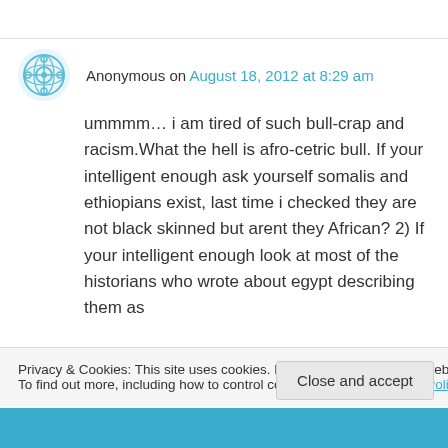Anonymous on August 18, 2012 at 8:29 am
ummmm… i am tired of such bull-crap and racism.What the hell is afro-cetric bull. If your intelligent enough ask yourself somalis and ethiopians exist, last time i checked they are not black skinned but arent they African? 2) If your intelligent enough look at most of the historians who wrote about egypt describing them as
Privacy & Cookies: This site uses cookies. By continuing to use this website, you agree to their use.
To find out more, including how to control cookies, see here: Cookie Policy
Close and accept